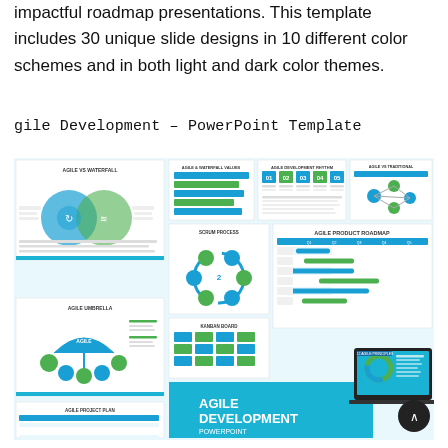impactful roadmap presentations. This template includes 30 unique slide designs in 10 different color schemes and in both light and dark color themes.
gile Development – PowerPoint Template
[Figure (screenshot): A collage of Agile Development PowerPoint template slide thumbnails showing: Agile vs Waterfall venn diagram, Agile & Waterfall Values horizontal bars, Agile Development Rhythm numbered cards, Agile vs Traditional network diagram, Scrum Process circular diagram, Agile Product Roadmap gantt chart, Kanban board, Agile Umbrella diagram, Agile Project Plan table, and a laptop mockup showing '12 Agile Principles' donut chart with 'AGILE DEVELOPMENT POWERPOINT' text overlay on teal background.]